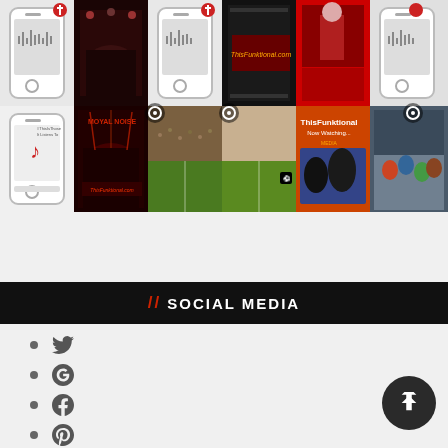[Figure (infographic): Instagram-style grid of 12 thumbnail images arranged in 2 rows of 6 columns, showing podcast art, concert photos, soccer/football match footage, and entertainment content for ThisFunktional media brand]
// SOCIAL MEDIA
Twitter icon
Google+ icon
Facebook icon
Pinterest icon
Instagram icon